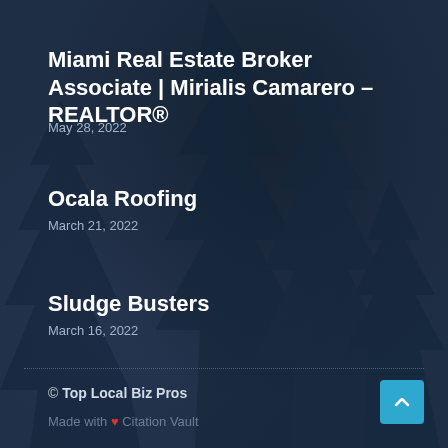Miami Real Estate Broker Associate | Mirialis Camarero – REALTOR®
May 28, 2022
Ocala Roofing
March 21, 2022
Sludge Busters
March 16, 2022
© Top Local Biz Pros
Made with ❤ Citation Vault